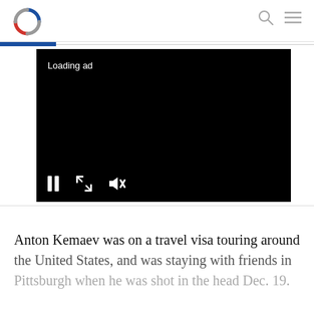Navigation header with logo, search icon, and menu icon
[Figure (screenshot): Black video player with 'Loading ad' text and playback controls (pause, fullscreen, mute) at the bottom]
Anton Kemaev was on a travel visa touring around the United States, and was staying with friends in Pittsburgh when he was shot in the head Dec. 19.